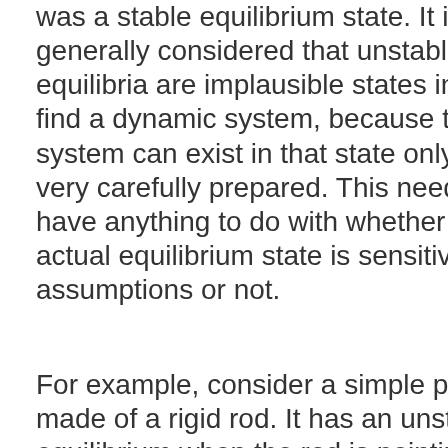was a stable equilibrium state. It is generally considered that unstable equilibria are implausible states in which to find a dynamic system, because the system can exist in that state only if it is very carefully prepared. This need not have anything to do with whether the actual equilibrium state is sensitive to assumptions or not.
For example, consider a simple pendulum made of a rigid rod. It has an unstable equilibrium when the rod is pointing straight up. This is an implausible state in which to find this system, and this is not